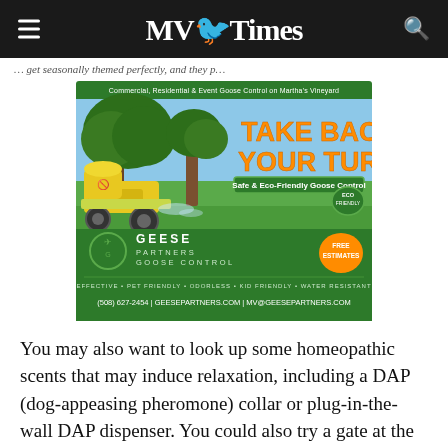MV Times
… get seasonally themed perfectly, and they p…
[Figure (photo): Advertisement for Geese Partners Goose Control showing a lawn mower on green turf with text 'TAKE BACK YOUR TURF - Safe & Eco-Friendly Goose Control' and contact info: (508) 627-2454 | GEESEPARTNERS.COM | MV@GEESEPARTNERS.COM]
You may also want to look up some homeopathic scents that may induce relaxation, including a DAP (dog-appeasing pheromone) collar or plug-in-the-wall DAP dispenser. You could also try a gate at the top of the